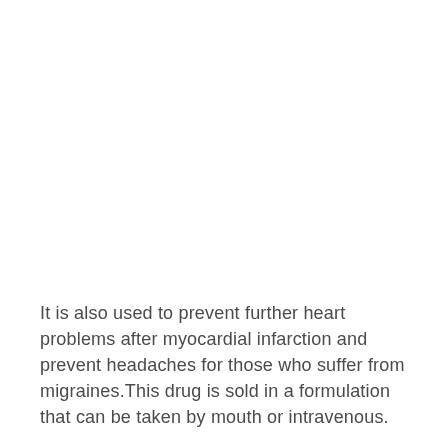It is also used to prevent further heart problems after myocardial infarction and prevent headaches for those who suffer from migraines.This drug is sold in a formulation that can be taken by mouth or intravenous.